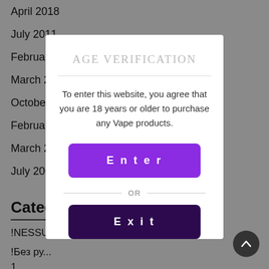April 2018
July 2011
February 2009
March 2...
October...
February...
March 2...
July 200...
Categories
!NESSU...
!Без ру...
1
AGE VERIFICATION
To enter this website, you agree that you are 18 years or older to purchase any Vape products.
Enter
OR
Exit